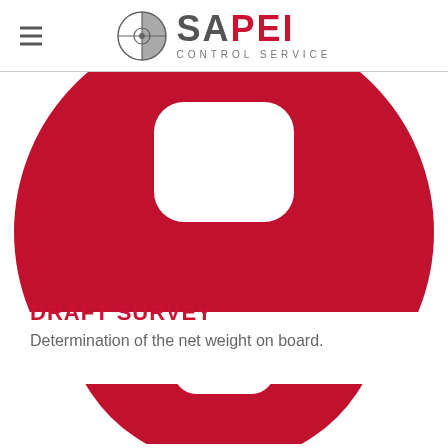SAPEI CONTROL SERVICE
[Figure (illustration): Large red donut/ring shape (partially cropped at top), showing upper half of a circular ring with a rounded rectangular cutout in the center on white background]
DRAFT SURVEY
Determination of the net weight on board.
[Figure (illustration): Bottom portion of a red donut/ring shape partially visible at the bottom of the page]